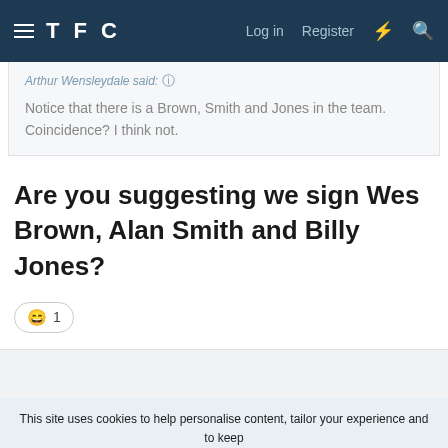TFC — Log in | Register
Arthur Wensleydale said: Notice that there is a Brown, Smith and Jones in the team. Coincidence? I think not.
Are you suggesting we sign Wes Brown, Alan Smith and Billy Jones?
😄 1
This site uses cookies to help personalise content, tailor your experience and to keep you logged in if you register. By continuing to use this site, you are consenting to our use of cookies.
✓ ACCEPT | LEARN MORE...